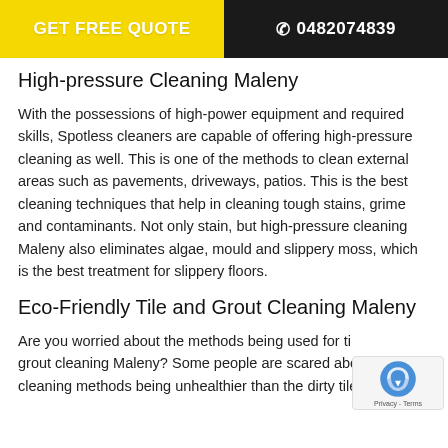GET FREE QUOTE  📞 0482074839
High-pressure Cleaning Maleny
With the possessions of high-power equipment and required skills, Spotless cleaners are capable of offering high-pressure cleaning as well. This is one of the methods to clean external areas such as pavements, driveways, patios. This is the best cleaning techniques that help in cleaning tough stains, grime and contaminants. Not only stain, but high-pressure cleaning Maleny also eliminates algae, mould and slippery moss, which is the best treatment for slippery floors.
Eco-Friendly Tile and Grout Cleaning Maleny
Are you worried about the methods being used for tile and grout cleaning Maleny? Some people are scared about cleaning methods being unhealthier than the dirty tiles. But